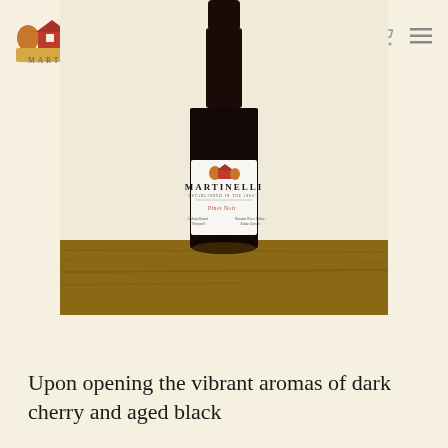Martinelli Winery navigation header with logo and icons
[Figure (photo): Martinelli Pinot Noir wine bottle with label showing 'MARTINELLI', 'Pinot Noir', 'Jackass Ranch Vineyard', 'Russian River Valley Estate Grown', placed on a wooden surface against a light background]
Upon opening the vibrant aromas of dark cherry and aged black...